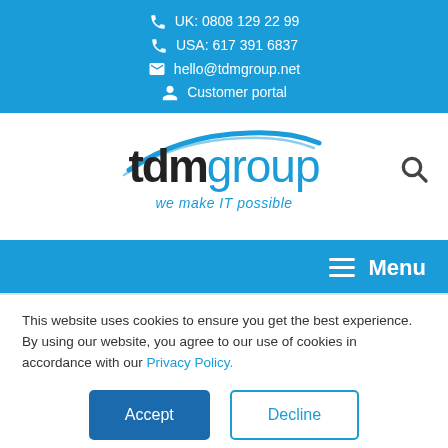UK: 0808 129 22 99 | USA: 617 391 6837 | hello@tdmgroup.net | Customer portal
[Figure (logo): TDMgroup logo with tagline 'we make IT possible' and a blue swoosh design, plus a magnifying glass search icon]
Menu
This website uses cookies to ensure you get the best experience. By using our website, you agree to our use of cookies in accordance with our Privacy Policy.
Accept | Decline